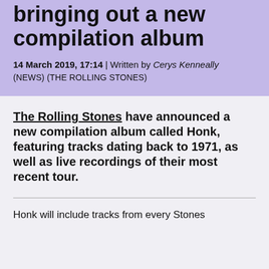bringing out a new compilation album
14 March 2019, 17:14 | Written by Cerys Kenneally (NEWS) (THE ROLLING STONES)
The Rolling Stones have announced a new compilation album called Honk, featuring tracks dating back to 1971, as well as live recordings of their most recent tour.
Honk will include tracks from every Stones